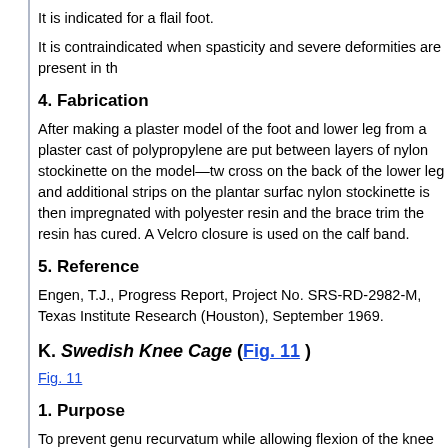It is indicated for a flail foot.
It is contraindicated when spasticity and severe deformities are present in th
4. Fabrication
After making a plaster model of the foot and lower leg from a plaster cast of polypropylene are put between layers of nylon stockinette on the model—tw cross on the back of the lower leg and additional strips on the plantar surfac nylon stockinette is then impregnated with polyester resin and the brace trim the resin has cured. A Velcro closure is used on the calf band.
5. Reference
Engen, T.J., Progress Report, Project No. SRS-RD-2982-M, Texas Institute Research (Houston), September 1969.
K. Swedish Knee Cage (Fig. 11 )
Fig. 11
1. Purpose
To prevent genu recurvatum while allowing flexion of the knee for walking.
2. Description